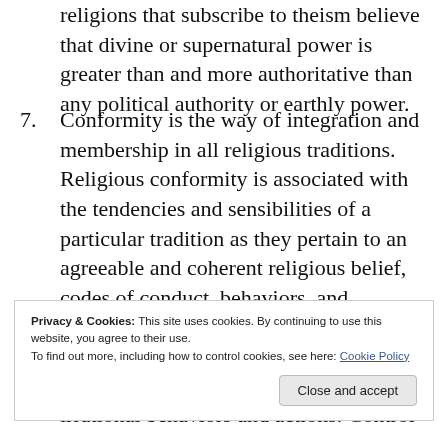religions that subscribe to theism believe that divine or supernatural power is greater than and more authoritative than any political authority or earthly power.
7. Conformity is the way of integration and membership in all religious traditions. Religious conformity is associated with the tendencies and sensibilities of a particular tradition as they pertain to an agreeable and coherent religious belief, codes of conduct, behaviors, and manners for group membership and affiliation.
Privacy & Cookies: This site uses cookies. By continuing to use this website, you agree to their use.
To find out more, including how to control cookies, see here: Cookie Policy
irrational behaviors and actions. Control